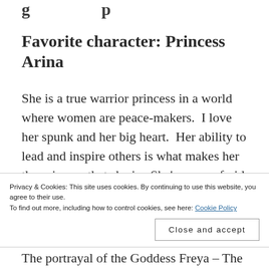g p
Favorite character: Princess Arina
She is a true warrior princess in a world where women are peace-makers.  I love her spunk and her big heart.  Her ability to lead and inspire others is what makes her the princess that she is.  She's never afraid to speak up and does not hesitate when other's would run.  If there is a hero in this story, it is Princess Arina.
Privacy & Cookies: This site uses cookies. By continuing to use this website, you agree to their use.
To find out more, including how to control cookies, see here: Cookie Policy
The portrayal of the Goddess Freya – The